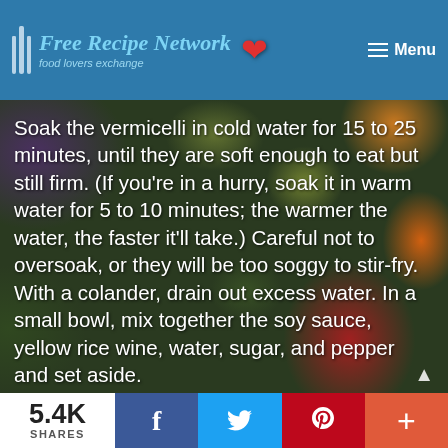Free Recipe Network — food lovers exchange | Menu
Directions
Soak the vermicelli in cold water for 15 to 25 minutes, until they are soft enough to eat but still firm. (If you're in a hurry, soak it in warm water for 5 to 10 minutes; the warmer the water, the faster it'll take.) Careful not to oversoak, or they will be too soggy to stir-fry. With a colander, drain out excess water. In a small bowl, mix together the soy sauce, yellow rice wine, water, sugar, and pepper and set aside.
Heat the cooking oil in a wok over medium-high heat. Sauté the onions, garlic, and ginger until fragrant and the onions begin to caramelize, about 1 to 2 minutes. Add half the sauce mixture. Add
5.4K SHARES